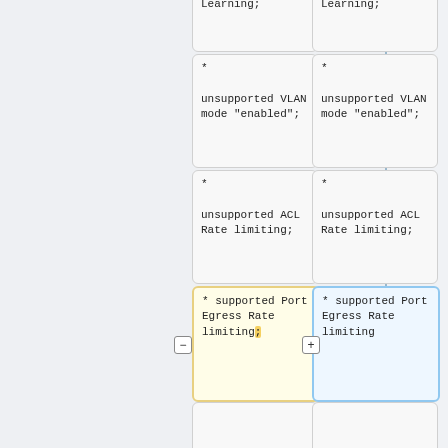| Column 1 | Column 2 |
| --- | --- |
| Learning; | Learning; |
| *

unsupported VLAN mode "enabled"; | *

unsupported VLAN mode "enabled"; |
| *

unsupported ACL Rate limiting; | *

unsupported ACL Rate limiting; |
| * supported Port Egress Rate limiting; | * supported Port Egress Rate limiting |
Revision as of 07:36, 8 October 2020